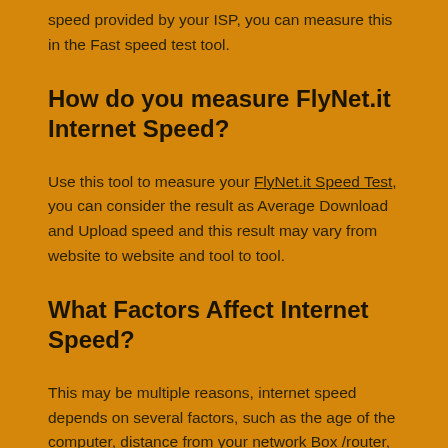speed provided by your ISP, you can measure this in the Fast speed test tool.
How do you measure FlyNet.it Internet Speed?
Use this tool to measure your FlyNet.it Speed Test, you can consider the result as Average Download and Upload speed and this result may vary from website to website and tool to tool.
What Factors Affect Internet Speed?
This may be multiple reasons, internet speed depends on several factors, such as the age of the computer, distance from your network Box /router, or the number of devices connected at once.
How to Check FlyNet.it Speed?